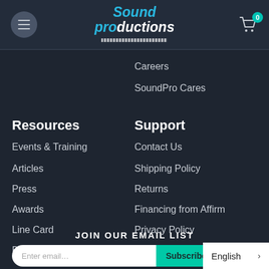[Figure (logo): Sound Productions logo with blue and white italic text and piano keys bar]
Careers
SoundPro Cares
Resources
Events & Training
Articles
Press
Awards
Line Card
Backline Rentals
Support
Contact Us
Shipping Policy
Returns
Financing from Affirm
Privacy Policy
FAQ
JOIN OUR EMAIL LIST
English >